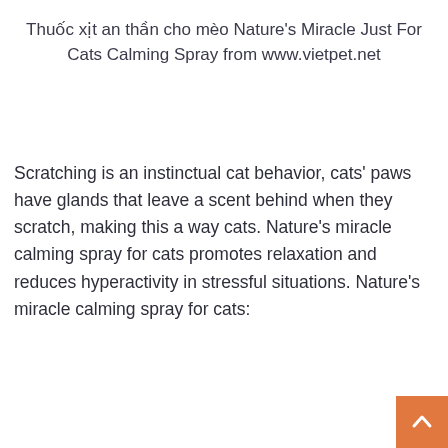Thuốc xịt an thần cho mèo Nature's Miracle Just For Cats Calming Spray from www.vietpet.net
Scratching is an instinctual cat behavior, cats' paws have glands that leave a scent behind when they scratch, making this a way cats. Nature's miracle calming spray for cats promotes relaxation and reduces hyperactivity in stressful situations. Nature's miracle calming spray for cats: